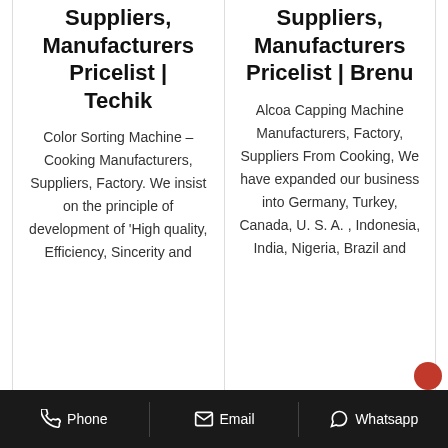Suppliers, Manufacturers Pricelist | Techik
Color Sorting Machine – Cooking Manufacturers, Suppliers, Factory. We insist on the principle of development of 'High quality, Efficiency, Sincerity and
Suppliers, Manufacturers Pricelist | Brenu
Alcoa Capping Machine Manufacturers, Factory, Suppliers From Cooking, We have expanded our business into Germany, Turkey, Canada, U. S. A. , Indonesia, India, Nigeria, Brazil and
Phone  Email  Whatsapp